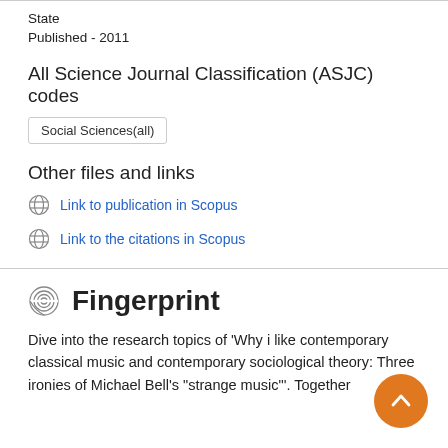State
Published - 2011
All Science Journal Classification (ASJC) codes
Social Sciences(all)
Other files and links
Link to publication in Scopus
Link to the citations in Scopus
Fingerprint
Dive into the research topics of 'Why i like contemporary classical music and contemporary sociological theory: Three ironies of Michael Bell's "strange music"'. Together